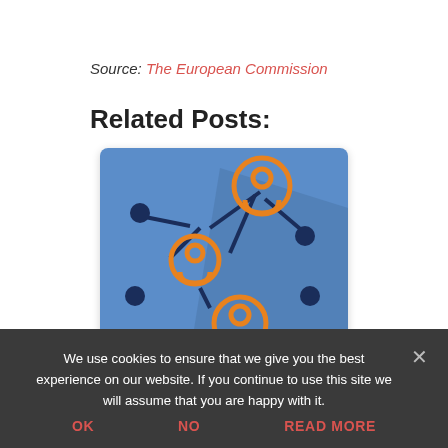Source: The European Commission
Related Posts:
[Figure (illustration): EU Cohesion Policy network illustration showing interconnected person icons in orange on a blue background, with text overlay 'EU Cohesion Policy: €31.5 billion for Romania']
EU Cohesion Policy: €31.5 billion for Romania
We use cookies to ensure that we give you the best experience on our website. If you continue to use this site we will assume that you are happy with it.
OK   NO   READ MORE